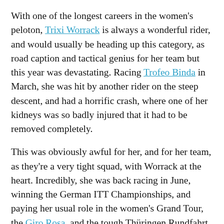With one of the longest careers in the women's peloton, Trixi Worrack is always a wonderful rider, and would usually be heading up this category, as road caption and tactical genius for her team but this year was devastating. Racing Trofeo Binda in March, she was hit by another rider on the steep descent, and had a horrific crash, where one of her kidneys was so badly injured that it had to be removed completely.
This was obviously awful for her, and for her team, as they're a very tight squad, with Worrack at the heart. Incredibly, she was back racing in June, winning the German ITT Championships, and paying her usual role in the women's Grand Tour, the Giro Rosa, and the tough Thüringen Rundfahrt and Boels Rental Ladies Tour, and attacking for her German teammates in the Olympic Road Race, and working for their silver medal in the